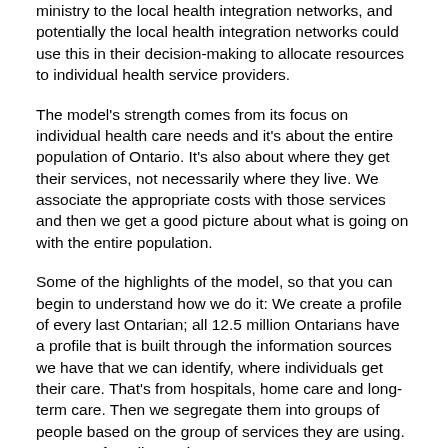ministry to the local health integration networks, and potentially the local health integration networks could use this in their decision-making to allocate resources to individual health service providers.
The model's strength comes from its focus on individual health care needs and it's about the entire population of Ontario. It's also about where they get their services, not necessarily where they live. We associate the appropriate costs with those services and then we get a good picture about what is going on with the entire population.
Some of the highlights of the model, so that you can begin to understand how we do it: We create a profile of every last Ontarian; all 12.5 million Ontarians have a profile that is built through the information sources we have that we can identify, where individuals get their care. That's from hospitals, home care and long-term care. Then we segregate them into groups of people based on the group of services they are using. A group of cardiac patients